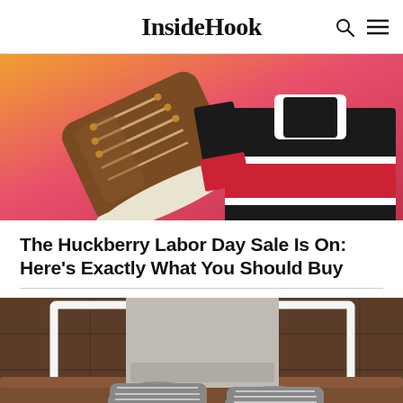InsideHook
[Figure (photo): Product flatlay photo on orange-pink gradient background showing a brown leather boot and a black/red/white striped rugby polo shirt]
The Huckberry Labor Day Sale Is On: Here's Exactly What You Should Buy
[Figure (photo): Close-up photo of a person seated on a brown leather couch wearing grey pants and grey canvas lace-up sneakers against a wood-paneled wall background]